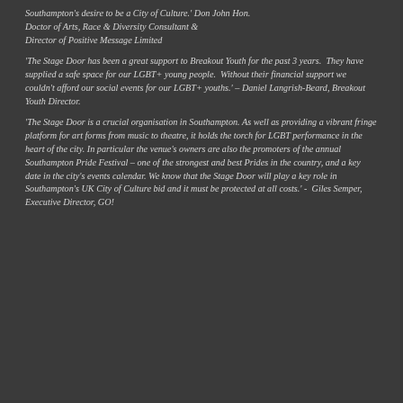Southampton's desire to be a City of Culture.' Don John Hon. Doctor of Arts, Race & Diversity Consultant & Director of Positive Message Limited
'The Stage Door has been a great support to Breakout Youth for the past 3 years.  They have supplied a safe space for our LGBT+ young people.  Without their financial support we couldn't afford our social events for our LGBT+ youths.' – Daniel Langrish-Beard, Breakout Youth Director.
'The Stage Door is a crucial organisation in Southampton. As well as providing a vibrant fringe platform for art forms from music to theatre, it holds the torch for LGBT performance in the heart of the city. In particular the venue's owners are also the promoters of the annual Southampton Pride Festival – one of the strongest and best Prides in the country, and a key date in the city's events calendar. We know that the Stage Door will play a key role in Southampton's UK City of Culture bid and it must be protected at all costs.' -  Giles Semper, Executive Director, GO!